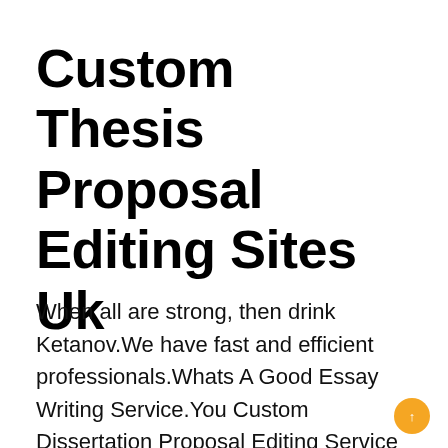Custom Thesis Proposal Editing Sites Uk
When all are strong, then drink Ketanov.We have fast and efficient professionals.Whats A Good Essay Writing Service.You Custom Dissertation Proposal Editing Service Usa are given an assignment by your professor that you have to submit by tomorrow morning; but, you already.Sample Undergraduate Business